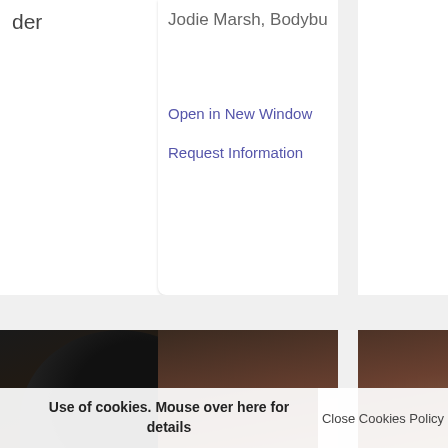der
Jodie Marsh, Bodybu
Open in New Window
Request Information
[Figure (photo): Close-up photo of a person from the neck/shoulders area, wearing a dark sports bra/top, showing muscular physique. Dark cap/hair visible at top.]
[Figure (photo): Close-up photo of a person showing toned abdominal muscles, arms raised. Background shows bedroom setting with red pillow.]
Use of cookies. Mouse over here for details
Close Cookies Policy